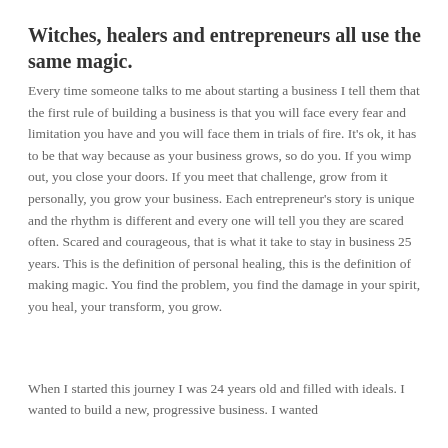Witches, healers and entrepreneurs all use the same magic.
Every time someone talks to me about starting a business I tell them that the first rule of building a business is that you will face every fear and limitation you have and you will face them in trials of fire.   It's ok, it has to be that way because as your business grows, so do you. If you wimp out, you close your doors.  If you meet that challenge, grow from it personally, you grow your business.   Each entrepreneur's story is unique and the rhythm is different and every one will tell you they are scared often.  Scared and courageous, that is what it take to stay in business 25 years.   This is the definition of personal healing, this is the definition of making magic.  You find the problem, you find the damage in your spirit, you heal, your transform, you grow.
When I started this journey I was 24 years old and filled with ideals.  I wanted to build a new, progressive business.  I wanted